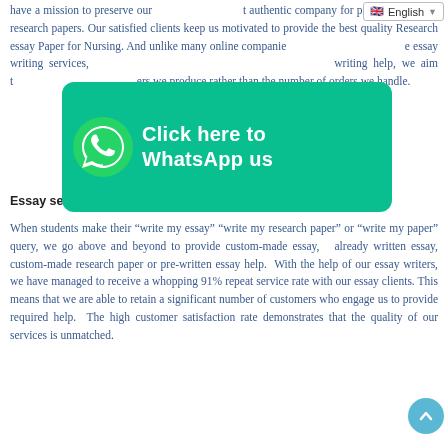have a mission to preserve our authentic company for providing custom research papers. Our satisfied clients keep us motivated to provide the best quality Research essay Paper for Nursing. And unlike many online companies that offer essay writing services, our goal as far as writing help, we aim to focus on the quality of the papers we produce rather than the number of orders we handle.
[Figure (screenshot): WhatsApp click-to-chat banner: teal rounded rectangle with WhatsApp phone icon on left and white bold text 'Click here to WhatsApp us' on right]
Essay services for Nurse Students
When students make their "write my essay" "write my research paper" or "write my paper" query, we go above and beyond to provide custom-made essay,  already written essay, custom-made research paper or pre-written essay help.  With the help of our essay writers, we have managed to receive a whopping 91% repeat service rate with our essay clients. This means that we are able to retain a significant number of customers who engage us to provide required help.  The high customer satisfaction rate demonstrates that the quality of our services is unmatched.